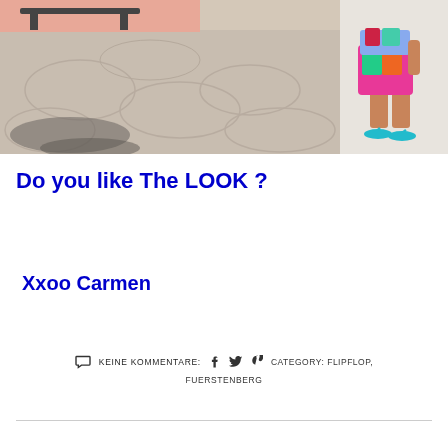[Figure (photo): Outdoor photo showing stone pavement with shadows, and a person in a colorful patterned dress/outfit wearing turquoise flip flops, standing against a white wall on the right side.]
Do you like The LOOK ?
Xxoo Carmen
KEINE KOMMENTARE:    CATEGORY: FLIPFLOP, FUERSTENBERG